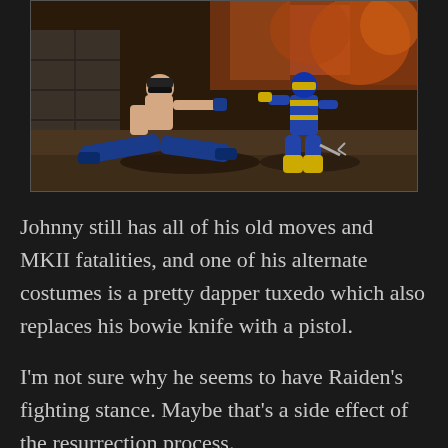[Figure (screenshot): Screenshot from Mortal Kombat video game showing two fighters: one shirtless character in blue pants doing a splits pose, and one character in a yellow and blue ninja outfit in a fighting stance. Background shows a stone arena with decorative elements.]
Johnny still has all of his old moves and MKII fatalities, and one of his alternate costumes is a pretty dapper tuxedo which also replaces his bowie knife with a pistol.
I'm not sure why he seems to have Raiden's fighting stance. Maybe that's a side effect of the resurrection process.